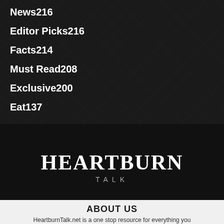News216
Editor Picks216
Facts214
Must Read208
Exclusive200
Eat137
[Figure (logo): HEARTBURN TALK logo in white serif bold font on dark background]
ABOUT US
HeartburnTalk.net is a one stop resource for everything you